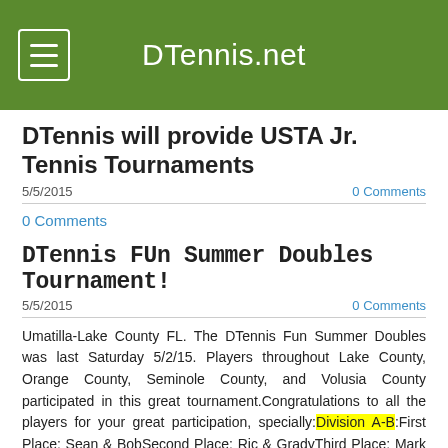DTennis.net
DTennis will provide USTA Jr. Tennis Tournaments
5/5/2015
0 Comments
0 Comments
DTennis FUn Summer Doubles Tournament!
5/5/2015
0 Comments
Umatilla-Lake County FL. The DTennis Fun Summer Doubles was last Saturday 5/2/15. Players throughout Lake County, Orange County, Seminole County, and Volusia County participated in this great tournament.Congratulations to all the players for your great participation, specially:Division A-B:First Place: Sean & BobSecond Place: Ric & GradyThird Place; Mark & ShariDivision A+:First Place: Kevin/ ReneSecond Place: Rob & MarkThird Place: Charlie & Andrew